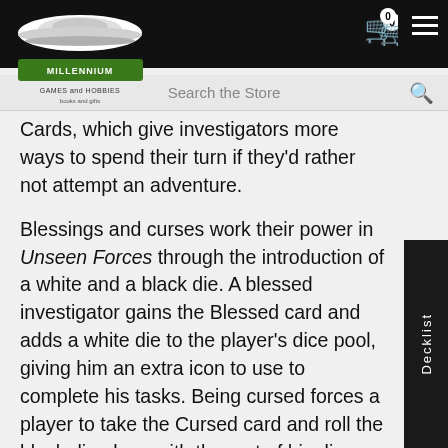Store header with logo, cart, and menu
Cards, which give investigators more ways to spend their turn if they'd rather not attempt an adventure.
Blessings and curses work their power in Unseen Forces through the introduction of a white and a black die. A blessed investigator gains the Blessed card and adds a white die to the player's dice pool, giving him an extra icon to use to complete his tasks. Being cursed forces a player to take the Cursed card and roll the black die along with the rest of his dice pool. If the player rolls any die that matches the result on the black die, he must discard both from his pool immediately.
Blessings and curses don't keep building up on an investigator. Any blessed character who receives a second blessing can draw a spell card, a clue, or a common or a